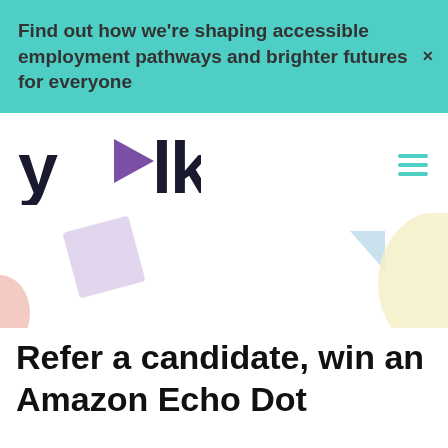Find out how we're shaping accessible employment pathways and brighter futures for everyone
[Figure (logo): YLK logo with purple play button triangle between y and lk letters, teal hamburger menu icon on right]
[Figure (illustration): Decorative geometric shapes: lavender rotated square on left, light blue triangle in center-right, pale yellow rounded rectangle on far right, pink shape on far left edge]
Refer a candidate, win an Amazon Echo Dot